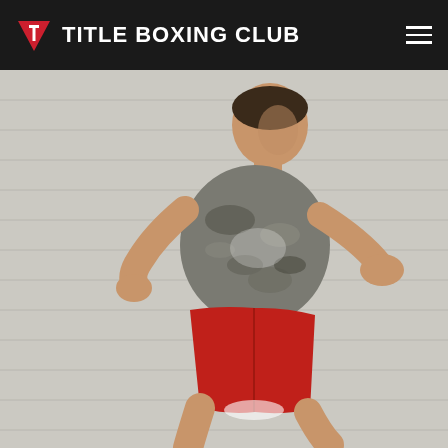[Figure (logo): Title Boxing Club logo: red downward-pointing triangle/shield with white T, followed by bold white text 'TITLE BOXING CLUB' on dark background header bar]
[Figure (photo): A male athlete wearing a camouflage-pattern grey t-shirt and red shorts, performing a boxing movement (running/shadowboxing) against a light-colored horizontal siding wall background]